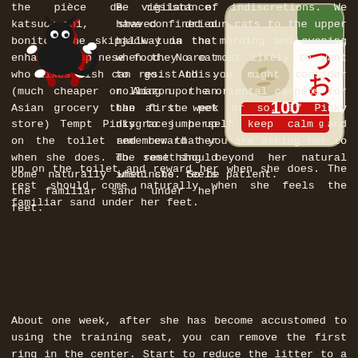the pièce de résistance: katsuobushi, shaved dried bonito, the skipjack tuna that enhances Japanese food. No cat who likes fish can resist this. (much cheaper on Amazon or an Asian grocery than at the pet store) Tempt Pinky to jump up on the toilet and reward her when she does. The rest should come naturally when she feels the familiar sand under her feet.
[Figure (photo): A bag of katsuobushi (shaved dried bonito fish flakes) with Japanese text and '100g' printed in red on white packaging]
[Figure (illustration): A black and white cartoon illustration of a running cat (Pinky) with a red outline/shadow effect]
Be vigilant of indiscretions. We have confined our cats to the upper hallway in the morning and evening when they are most likely to want to go. And you might consider rolling up the oriental carpets for the first week or so. If Pinky disgraces herself keep calm and remember that you are asking her to do something beyond her natural instincts. So be patient.
About one week, after she has become accustomed to using the training seat, you can remove the first ring in the center. Start to reduce the litter to a minimum to save your pipes, and also to